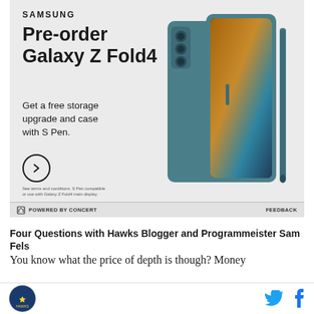[Figure (advertisement): Samsung advertisement for Galaxy Z Fold4 pre-order. Shows product image of teal folding phone with S Pen. Text: SAMSUNG, Pre-order Galaxy Z Fold4, Get a free storage upgrade and case with S Pen. Circle CTA arrow button. Fine print about terms and conditions.]
POWERED BY CONCERT    FEEDBACK
Four Questions with Hawks Blogger and Programmeister Sam Fels
You know what the price of depth is though? Money
[Figure (logo): Circular sports team logo at bottom left]
[Figure (other): Twitter bird icon and Facebook f icon at bottom right]